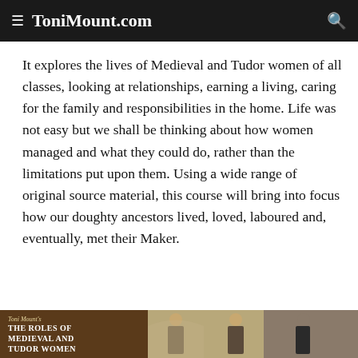ToniMount.com
It explores the lives of Medieval and Tudor women of all classes, looking at relationships, earning a living, caring for the family and responsibilities in the home. Life was not easy but we shall be thinking about how women managed and what they could do, rather than the limitations put upon them. Using a wide range of original source material, this course will bring into focus how our doughty ancestors lived, loved, laboured and, eventually, met their Maker.
[Figure (photo): Book cover for Toni Mount's 'The Roles of Medieval and Tudor Women' showing two women in medieval dress against a building backdrop]